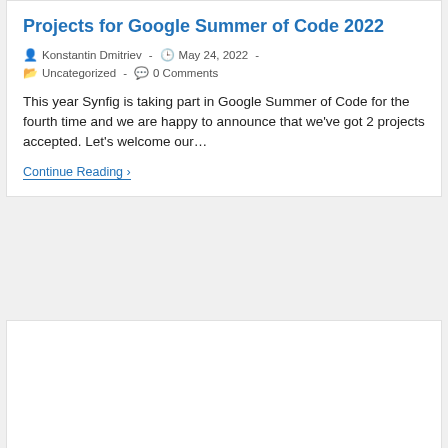Projects for Google Summer of Code 2022
Konstantin Dmitriev  ·  May 24, 2022  ·  Uncategorized  ·  0 Comments
This year Synfig is taking part in Google Summer of Code for the fourth time and we are happy to announce that we've got 2 projects accepted. Let's welcome our…
Continue Reading ›
[Figure (illustration): Google Summer of Code promotional banner with trophy, person holding coin, and 'Google Summer of Code' text in yellow/gold on light blue background]